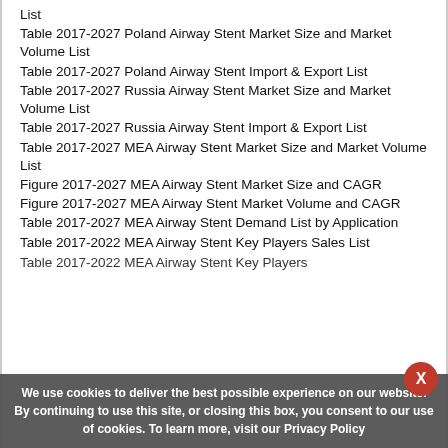List
Table 2017-2027 Poland Airway Stent Market Size and Market Volume List
Table 2017-2027 Poland Airway Stent Import & Export List
Table 2017-2027 Russia Airway Stent Market Size and Market Volume List
Table 2017-2027 Russia Airway Stent Import & Export List
Table 2017-2027 MEA Airway Stent Market Size and Market Volume List
Figure 2017-2027 MEA Airway Stent Market Size and CAGR
Figure 2017-2027 MEA Airway Stent Market Volume and CAGR
Table 2017-2027 MEA Airway Stent Demand List by Application
Table 2017-2022 MEA Airway Stent Key Players Sales List
Table 2017-2022 MEA Airway Stent Key Players
We use cookies to deliver the best possible experience on our website. By continuing to use this site, or closing this box, you consent to our use of cookies. To learn more, visit our Privacy Policy